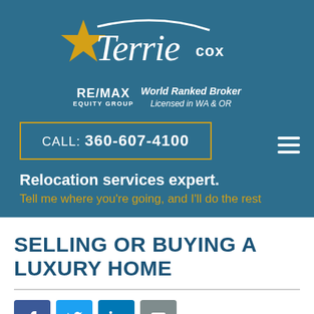[Figure (logo): Terrie Cox RE/MAX Equity Group World Ranked Broker logo with gold star]
CALL: 360-607-4100
Relocation services expert.
Tell me where you're going, and I'll do the rest
SELLING OR BUYING A LUXURY HOME
[Figure (infographic): Social media icons: Facebook, Twitter, LinkedIn, Email]